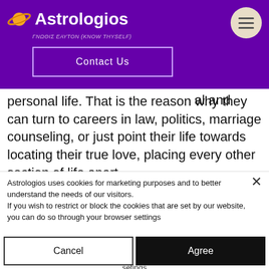[Figure (screenshot): Astrologios website header with purple background, planet logo, site name 'Astrologios', tagline 'ΓΝΩΘΙΣ ΕΑΥΤΟΝ (KNOW THYSELF)', Contact Us button, and hamburger menu circle]
hout
y seek
uch of
its, and
on for
al and
personal life. That is the reason why they can turn to careers in law, politics, marriage counseling, or just point their life towards locating their true love, placing every other section of life apart.
Astrologios uses cookies for marketing purposes and to better understand the needs of our visitors.
If you wish to restrict or block the cookies that are set by our website, you can do so through your browser settings
Cancel
Agree
setings